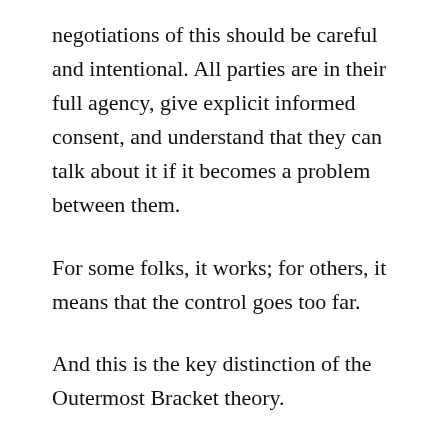negotiations of this should be careful and intentional. All parties are in their full agency, give explicit informed consent, and understand that they can talk about it if it becomes a problem between them.
For some folks, it works; for others, it means that the control goes too far.
And this is the key distinction of the Outermost Bracket theory.
Why Does This Matter?